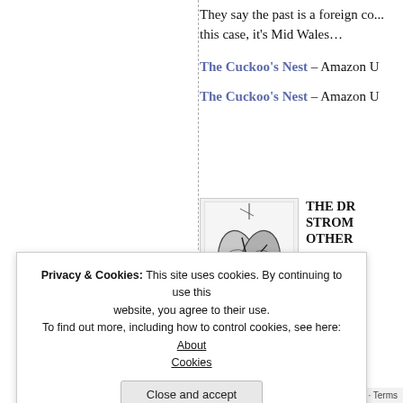They say the past is a foreign co... this case, it's Mid Wales…
The Cuckoo's Nest – Amazon U
The Cuckoo's Nest – Amazon U
THE DR STROM OTHER
A wily o lande... on... co... an es —
[Figure (illustration): Black and white book cover illustration showing stylized bird/lung shapes with abstract imagery, handwritten signature at bottom]
Privacy & Cookies: This site uses cookies. By continuing to use this website, you agree to their use. To find out more, including how to control cookies, see here: About Cookies
Close and accept
Privacy · Terms